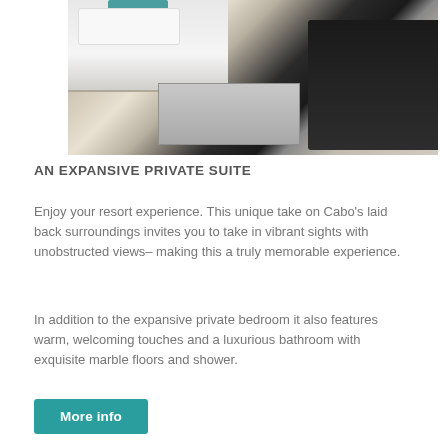[Figure (photo): Interior photo of a hotel suite showing a white bed with teal accent pillow, a glass coffee table, and a dark leather sofa on marble flooring.]
AN EXPANSIVE PRIVATE SUITE
Enjoy your resort experience. This unique take on Cabo's laid back surroundings invites you to take in vibrant sights with unobstructed views– making this a truly memorable experience.
In addition to the expansive private bedroom it also features warm, welcoming touches and a luxurious bathroom with exquisite marble floors and shower.
More info